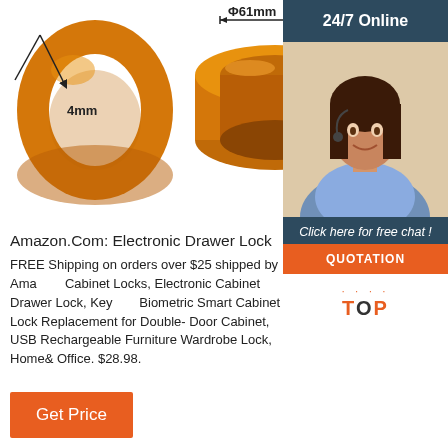[Figure (photo): Two orange silicone rings/bracelets with dimension annotations: 4mm width on the left ring, Φ61mm diameter on the right ring. White background product photography.]
[Figure (photo): Customer service sidebar showing a smiling woman with headset, '24/7 Online' header in dark blue, 'Click here for free chat!' text, 'QUOTATION' button in orange, and 'TOP' navigation button.]
Amazon.Com: Electronic Drawer Lock
FREE Shipping on orders over $25 shipped by Amazon. Cabinet Locks, Electronic Cabinet Drawer Lock, Keyless Biometric Smart Cabinet Lock Replacement for Double- Door Cabinet, USB Rechargeable Furniture Wardrobe Lock, Home& Office. $28.98.
Get Price